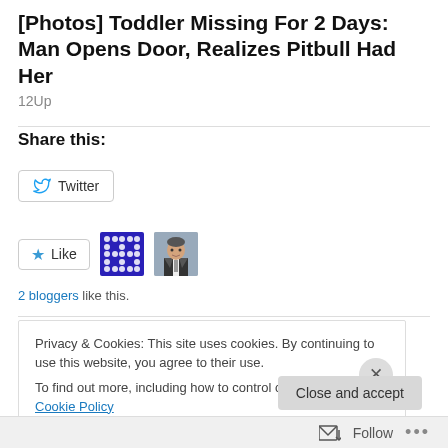[Photos] Toddler Missing For 2 Days: Man Opens Door, Realizes Pitbull Had Her
12Up
Share this:
Twitter
Like
2 bloggers like this.
Privacy & Cookies: This site uses cookies. By continuing to use this website, you agree to their use.
To find out more, including how to control cookies, see here: Cookie Policy
Close and accept
Follow ...